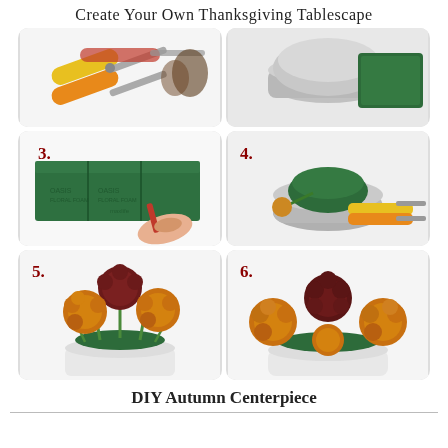Create Your Own Thanksgiving Tablescape
[Figure (photo): Step 1: scissors and craft supplies on white background]
[Figure (photo): Step 2: green floral foam block in silver bowl]
[Figure (photo): Step 3: green floral foam blocks with hand holding red pen marking them]
[Figure (photo): Step 4: silver bowl with green floral foam dome, scissors and flower stem nearby]
[Figure (photo): Step 5: partial arrangement of orange and dark red chrysanthemums in white container]
[Figure (photo): Step 6: completed arrangement of orange and dark red chrysanthemums in white container]
DIY Autumn Centerpiece